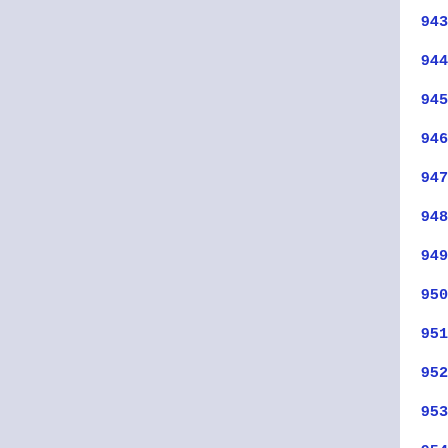943   elif test -f $ac_srcdir/config...
944         echo
945         $SHELL $ac_srcdir/confi...
946     elif test -f $ac_srcdir/c...
947     test -f $ac_srcdir/config...
948         echo
949         $ac_configure --help
950     else
951         echo "$as_me: WARNING:
952     fi
953     cd "$ac_popdir"
954   done
955 fi
956
957 test -n "$ac_init_help" && e...
958 if $ac_init_version; then
959   cat <<\ ACEOF